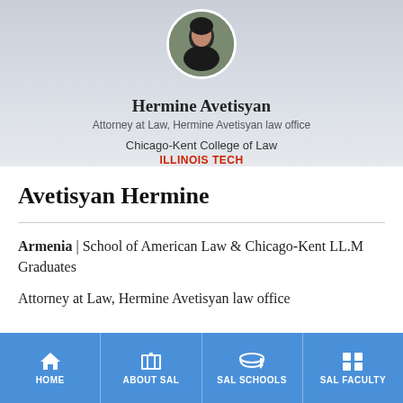[Figure (photo): Profile photo of Hermine Avetisyan in a circular frame, shown from shoulders up]
Hermine Avetisyan
Attorney at Law, Hermine Avetisyan law office
Chicago-Kent College of Law
ILLINOIS TECH
Avetisyan Hermine
Armenia | School of American Law & Chicago-Kent LL.M Graduates
Attorney at Law, Hermine Avetisyan law office
HOME  ABOUT SAL  SAL SCHOOLS  SAL FACULTY